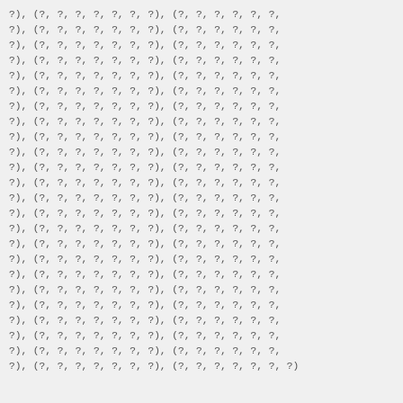?), (?, ?, ?, ?, ?, ?, ?), (?, ?, ?, ?, ?, ?,
?), (?, ?, ?, ?, ?, ?, ?), (?, ?, ?, ?, ?, ?,
?), (?, ?, ?, ?, ?, ?, ?), (?, ?, ?, ?, ?, ?,
?), (?, ?, ?, ?, ?, ?, ?), (?, ?, ?, ?, ?, ?,
?), (?, ?, ?, ?, ?, ?, ?), (?, ?, ?, ?, ?, ?,
?), (?, ?, ?, ?, ?, ?, ?), (?, ?, ?, ?, ?, ?,
?), (?, ?, ?, ?, ?, ?, ?), (?, ?, ?, ?, ?, ?,
?), (?, ?, ?, ?, ?, ?, ?), (?, ?, ?, ?, ?, ?,
?), (?, ?, ?, ?, ?, ?, ?), (?, ?, ?, ?, ?, ?,
?), (?, ?, ?, ?, ?, ?, ?), (?, ?, ?, ?, ?, ?,
?), (?, ?, ?, ?, ?, ?, ?), (?, ?, ?, ?, ?, ?,
?), (?, ?, ?, ?, ?, ?, ?), (?, ?, ?, ?, ?, ?,
?), (?, ?, ?, ?, ?, ?, ?), (?, ?, ?, ?, ?, ?,
?), (?, ?, ?, ?, ?, ?, ?), (?, ?, ?, ?, ?, ?,
?), (?, ?, ?, ?, ?, ?, ?), (?, ?, ?, ?, ?, ?,
?), (?, ?, ?, ?, ?, ?, ?), (?, ?, ?, ?, ?, ?,
?), (?, ?, ?, ?, ?, ?, ?), (?, ?, ?, ?, ?, ?,
?), (?, ?, ?, ?, ?, ?, ?), (?, ?, ?, ?, ?, ?,
?), (?, ?, ?, ?, ?, ?, ?), (?, ?, ?, ?, ?, ?,
?), (?, ?, ?, ?, ?, ?, ?), (?, ?, ?, ?, ?, ?,
?), (?, ?, ?, ?, ?, ?, ?), (?, ?, ?, ?, ?, ?,
?), (?, ?, ?, ?, ?, ?, ?), (?, ?, ?, ?, ?, ?,
?), (?, ?, ?, ?, ?, ?, ?), (?, ?, ?, ?, ?, ?,
?), (?, ?, ?, ?, ?, ?, ?), (?, ?, ?, ?, ?, ?, ?)